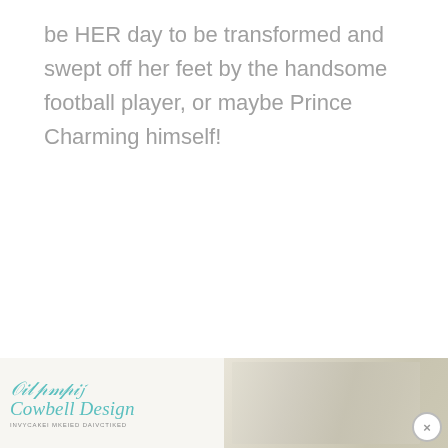be HER day to be transformed and swept off her feet by the handsome football player, or maybe Prince Charming himself!
[Figure (other): Footer advertisement banner with a cursive logo on the left side and a decorative patterned image on the right side, with a close (X) button]